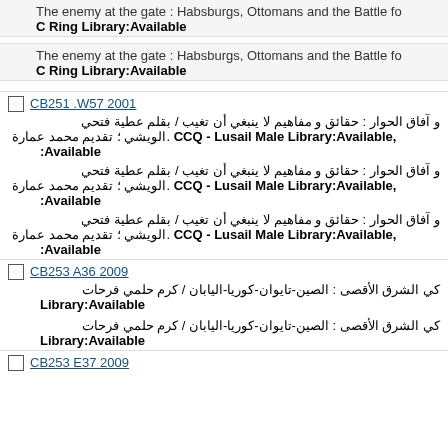The enemy at the gate : Habsburgs, Ottomans and the Battle fo...
C Ring Library:Available
The enemy at the gate : Habsburgs, Ottomans and the Battle fo...
C Ring Library:Available
CB251 .W57 2001
و آفاق الحوار : حقائق و مفاهيم لا ينبغي أن تغيب / بقلم عطية فتحي الويشي ؛ تقديم محمد عمارة. CCQ - Lusail Male Library:Available, :Available
و آفاق الحوار : حقائق و مفاهيم لا ينبغي أن تغيب / بقلم عطية فتحي الويشي ؛ تقديم محمد عمارة. CCQ - Lusail Male Library:Available, :Available
و آفاق الحوار : حقائق و مفاهيم لا ينبغي أن تغيب / بقلم عطية فتحي الويشي ؛ تقديم محمد عمارة. CCQ - Lusail Male Library:Available, :Available
CB253 A36 2009
كي الشرق الأقصى : الصين-تايوان-كوريا-اليابان / كرم حلمي فرحات Library:Available
كي الشرق الأقصى : الصين-تايوان-كوريا-اليابان / كرم حلمي فرحات Library:Available
CB253 E37 2009